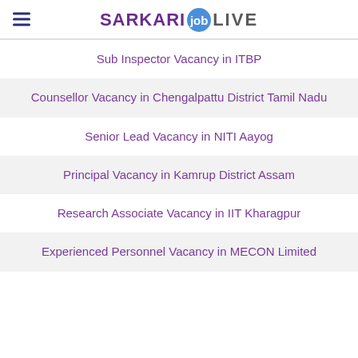SARKARI job LIVE
Sub Inspector Vacancy in ITBP
Counsellor Vacancy in Chengalpattu District Tamil Nadu
Senior Lead Vacancy in NITI Aayog
Principal Vacancy in Kamrup District Assam
Research Associate Vacancy in IIT Kharagpur
Experienced Personnel Vacancy in MECON Limited